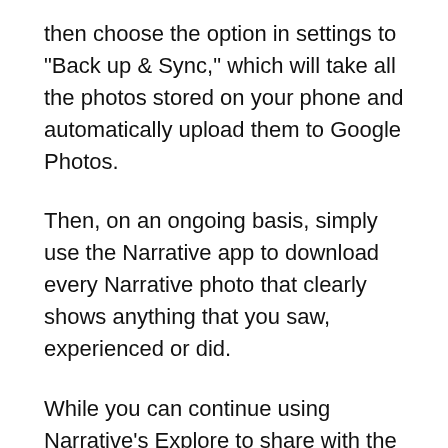then choose the option in settings to "Back up & Sync," which will take all the photos stored on your phone and automatically upload them to Google Photos.
Then, on an ongoing basis, simply use the Narrative app to download every Narrative photo that clearly shows anything that you saw, experienced or did.
While you can continue using Narrative's Explore to share with the Narrative community, continue to grab pictures taken by Narrative Clip to your favorite social networks, and continue taking pictures with your phone and sharing them as you've done before, you will now have